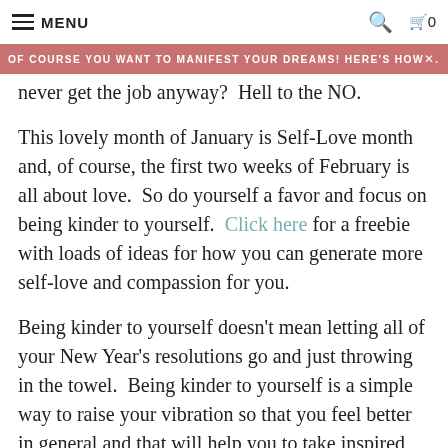MENU  🔍  🛒 0
OF COURSE YOU WANT TO MANIFEST YOUR DREAMS! HERE'S HOW×.
never get the job anyway?  Hell to the NO.
This lovely month of January is Self-Love month and, of course, the first two weeks of February is all about love.  So do yourself a favor and focus on being kinder to yourself.  Click here for a freebie with loads of ideas for how you can generate more self-love and compassion for you.
Being kinder to yourself doesn't mean letting all of your New Year's resolutions go and just throwing in the towel.  Being kinder to yourself is a simple way to raise your vibration so that you feel better in general and that will help you to take inspired action on